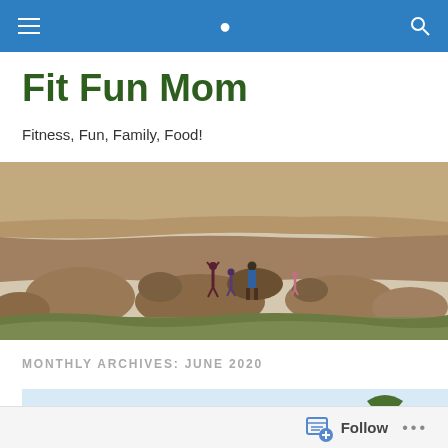Fit Fun Mom – navigation bar
Fit Fun Mom
Fitness, Fun, Family, Food!
[Figure (photo): Wide panoramic photo of people standing among large boulders and rocky desert landscape with dry grass]
MONTHLY ARCHIVES: JUNE 2020
[Figure (photo): Partial thumbnail of an outdoor photo with sky and a tree visible]
Follow  •••